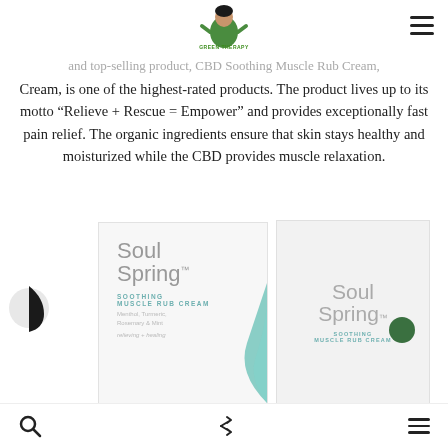Green Therapy logo and navigation
and top-selling product, CBD Soothing Muscle Rub Cream, is one of the highest-rated products. The product lives up to its motto “Relieve + Rescue = Empower” and provides exceptionally fast pain relief. The organic ingredients ensure that skin stays healthy and moisturized while the CBD provides muscle relaxation.
[Figure (photo): Soul Spring Soothing Muscle Rub Cream product box and tube]
Search, Share, and Menu navigation icons